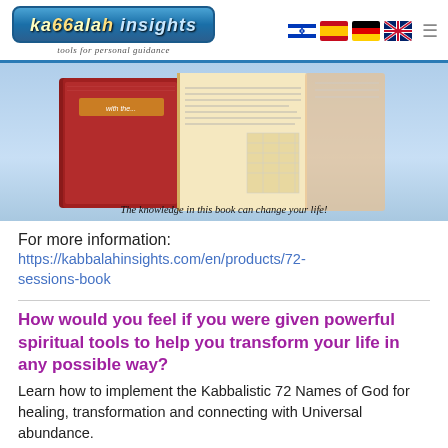Kabbalah Insights – tools for personal guidance
[Figure (photo): Book cover image of a red Kabbalah book open, with text 'The knowledge in this book can change your life!' at the bottom, against a light blue water background.]
The knowledge in this book can change your life!
For more information:
https://kabbalahinsights.com/en/products/72-sessions-book
How would you feel if you were given powerful spiritual tools to help you transform your life in any possible way? Learn how to implement the Kabbalistic 72 Names of God for healing, transformation and connecting with Universal abundance.